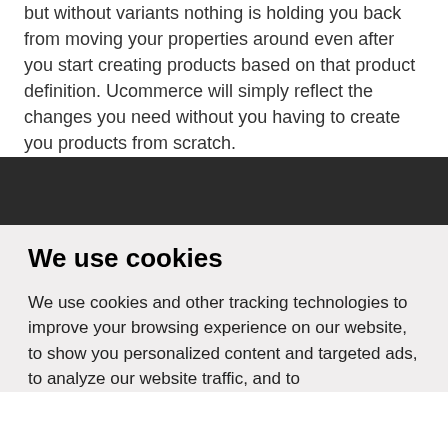but without variants nothing is holding you back from moving your properties around even after you start creating products based on that product definition. Ucommerce will simply reflect the changes you need without you having to create you products from scratch.
We use cookies
We use cookies and other tracking technologies to improve your browsing experience on our website, to show you personalized content and targeted ads, to analyze our website traffic, and to